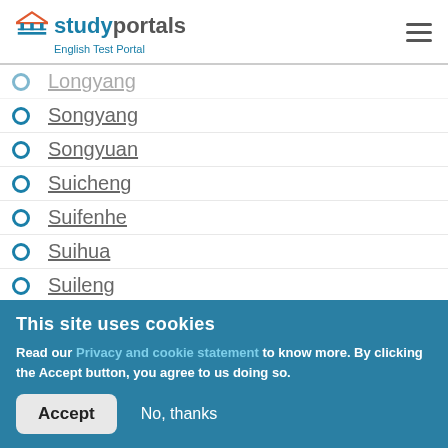studyportals - English Test Portal
Longyang
Songyang
Songyuan
Suicheng
Suifenhe
Suihua
Suileng
Suining
This site uses cookies
Read our Privacy and cookie statement to know more. By clicking the Accept button, you agree to us doing so.